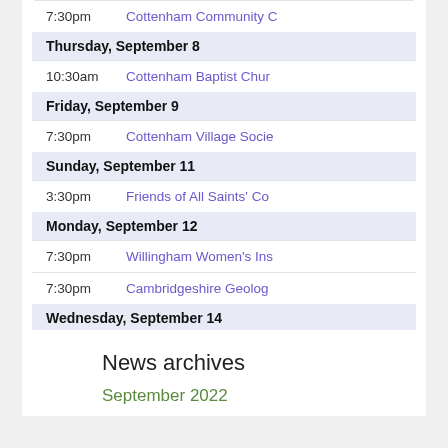| Time | Event |
| --- | --- |
| 7:30pm | Cottenham Community C… |
| Thursday, September 8 |  |
| 10:30am | Cottenham Baptist Chur… |
| Friday, September 9 |  |
| 7:30pm | Cottenham Village Socie… |
| Sunday, September 11 |  |
| 3:30pm | Friends of All Saints' Co… |
| Monday, September 12 |  |
| 7:30pm | Willingham Women's Ins… |
| 7:30pm | Cambridgeshire Geolog… |
| Wednesday, September 14 |  |
News archives
September 2022